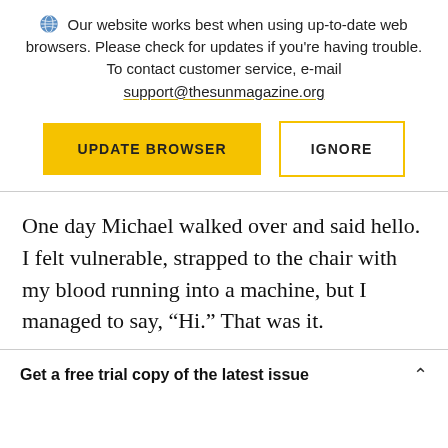Our website works best when using up-to-date web browsers. Please check for updates if you're having trouble. To contact customer service, e-mail support@thesunmagazine.org
[Figure (other): Two buttons: a yellow filled button labeled UPDATE BROWSER and a yellow-outlined white button labeled IGNORE]
One day Michael walked over and said hello. I felt vulnerable, strapped to the chair with my blood running into a machine, but I managed to say, “Hi.” That was it.
Get a free trial copy of the latest issue